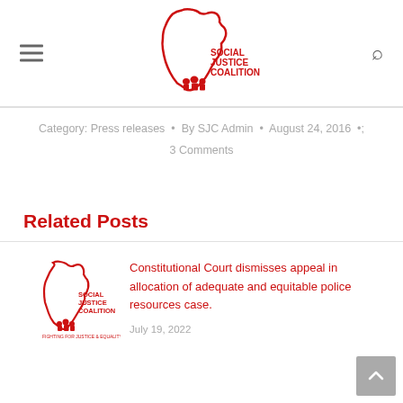[Figure (logo): Social Justice Coalition logo — outline of Africa in red with silhouette figures and text 'SOCIAL JUSTICE COALITION']
Category: Press releases • By SJC Admin • August 24, 2016 • 3 Comments
Related Posts
[Figure (logo): Social Justice Coalition small logo with tagline 'FIGHTING FOR JUSTICE & EQUALITY']
Constitutional Court dismisses appeal in allocation of adequate and equitable police resources case.
July 19, 2022